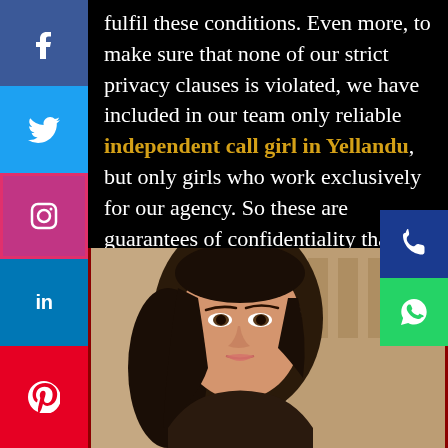fulfil these conditions. Even more, to make sure that none of our strict privacy clauses is violated, we have included in our team only reliable independent call girl in Yellandu, but only girls who work exclusively for our agency. So these are guarantees of confidentiality that we offer, to have some relaxing moments at the highest level, without worry.
[Figure (photo): Portrait photo of a young woman with long dark hair, looking over her shoulder, with a warm blurred background]